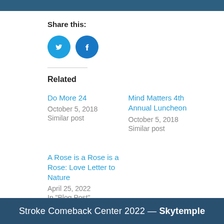Share this:
[Figure (illustration): Two circular social media share buttons: Twitter (blue, bird icon) and Facebook (darker blue, f icon)]
Related
Do More 24
October 5, 2018
Similar post
Mind Matters 4th Annual Luncheon
October 5, 2018
Similar post
A Rose is a Rose is a Rose: Love Letter to Nature
April 25, 2022
In "Blog Post"
Stroke Comeback Center 2022 — Skytemple